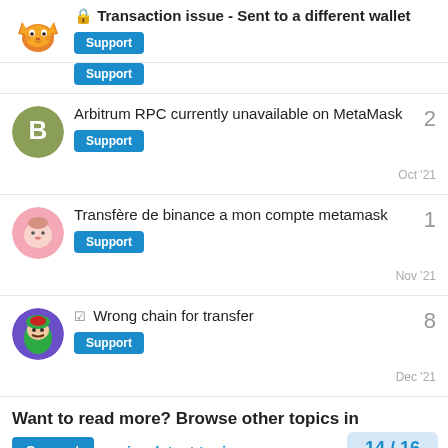Transaction issue - Sent to a different wallet [Support]
Arbitrum RPC currently unavailable on MetaMask [Support] 2 Oct '21
Transfère de binance a mon compte metamask [Support] 1 Nov '21
Wrong chain for transfer [Support] 8 Dec '21
Want to read more? Browse other topics in Support or view latest topics. 14 / 16